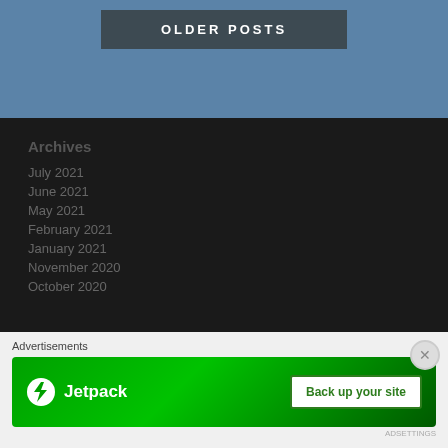OLDER POSTS
Archives
July 2021
June 2021
May 2021
February 2021
January 2021
November 2020
October 2020
Advertisements
[Figure (infographic): Jetpack advertisement banner with logo and 'Back up your site' button]